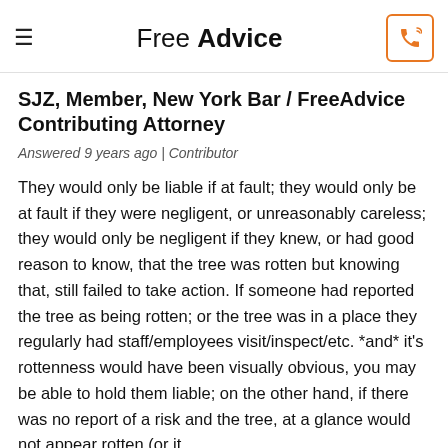Free Advice
SJZ, Member, New York Bar / FreeAdvice Contributing Attorney
Answered 9 years ago | Contributor
They would only be liable if at fault; they would only be at fault if they were negligent, or unreasonably careless; they would only be negligent if they knew, or had good reason to know, that the tree was rotten but knowing that, still failed to take action. If someone had reported the tree as being rotten; or the tree was in a place they regularly had staff/employees visit/inspect/etc. *and* it's rottenness would have been visually obvious, you may be able to hold them liable; on the other hand, if there was no report of a risk and the tree, at a glance would not appear rotten (or it